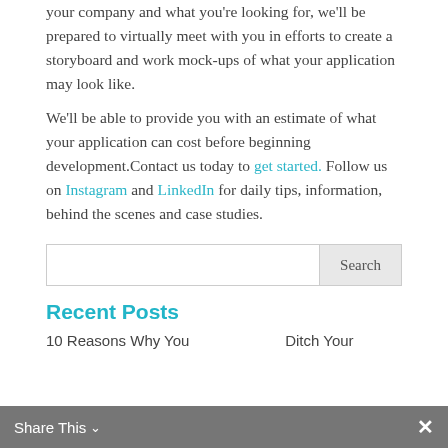your company and what you're looking for, we'll be prepared to virtually meet with you in efforts to create a storyboard and work mock-ups of what your application may look like.
We'll be able to provide you with an estimate of what your application can cost before beginning development.Contact us today to get started. Follow us on Instagram and LinkedIn for daily tips, information, behind the scenes and case studies.
[Figure (other): Search bar with text input field and Search button]
Recent Posts
10 Reasons Why You Should Ditch Your
Share This ∨ ✕